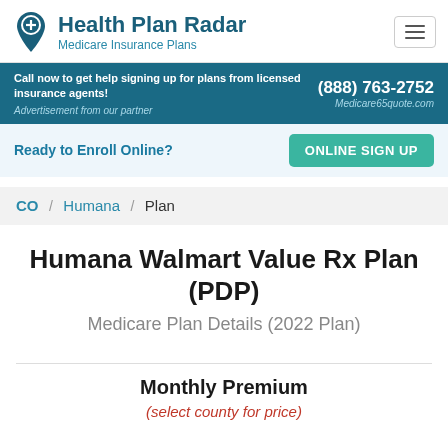Health Plan Radar — Medicare Insurance Plans
Call now to get help signing up for plans from licensed insurance agents! (888) 763-2752 Advertisement from our partner Medicare65quote.com
Ready to Enroll Online? ONLINE SIGN UP
CO / Humana / Plan
Humana Walmart Value Rx Plan (PDP)
Medicare Plan Details (2022 Plan)
Monthly Premium
(select county for price)